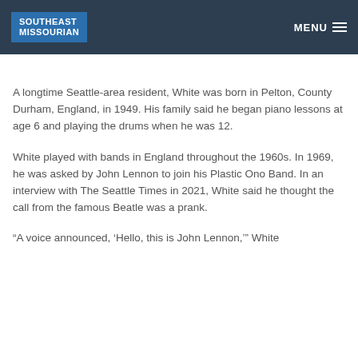SOUTHEAST MISSOURIAN | MENU
A longtime Seattle-area resident, White was born in Pelton, County Durham, England, in 1949. His family said he began piano lessons at age 6 and playing the drums when he was 12.
White played with bands in England throughout the 1960s. In 1969, he was asked by John Lennon to join his Plastic Ono Band. In an interview with The Seattle Times in 2021, White said he thought the call from the famous Beatle was a prank.
“A voice announced, ‘Hello, this is John Lennon,’” White